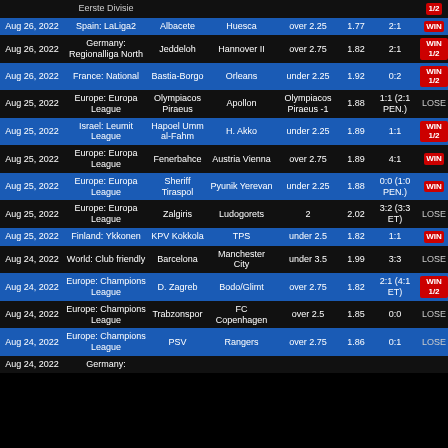| Date | League | Home | Away | Bet | Odds | Score | Result |
| --- | --- | --- | --- | --- | --- | --- | --- |
|  | Eerste Divisie |  |  |  |  |  | 1/2 |
| Aug 26, 2022 | Spain: LaLiga2 | Albacete | Huesca | over 2.25 | 1.77 | 2:1 | WIN |
| Aug 26, 2022 | Germany: Regionalliga North | Jeddeloh | Hannover II | over 2.75 | 1.82 | 2:1 | WIN 1/2 |
| Aug 26, 2022 | France: National | Bastia-Borgo | Orleans | under 2.25 | 1.92 | 0:2 | WIN 1/2 |
| Aug 25, 2022 | Europe: Europa League | Olympiacos Piraeus | Apollon | Olympiacos Piraeus -1 | 1.88 | 1:1 (2:1 PEN.) | LOSE |
| Aug 25, 2022 | Israel: Leumit League | Hapoel Umm al-Fahm | H. Akko | under 2.25 | 1.89 | 1:1 | WIN 1/2 |
| Aug 25, 2022 | Europe: Europa League | Fenerbahce | Austria Vienna | over 2.75 | 1.89 | 4:1 | WIN |
| Aug 25, 2022 | Europe: Europa League | Sheriff Tiraspol | Pyunik Yerevan | under 2.25 | 1.88 | 0:0 (1:0 PEN.) | WIN |
| Aug 25, 2022 | Europe: Europa League | Zalgiris | Ludogorets | 2 | 2.02 | 3:2 (3:3 ET) | LOSE |
| Aug 25, 2022 | Finland: Ykkonen | KPV Kokkola | TPS | under 2.5 | 1.82 | 1:1 | WIN |
| Aug 24, 2022 | World: Club friendly | Barcelona | Manchester City | under 3.5 | 1.99 | 3:3 | LOSE |
| Aug 24, 2022 | Europe: Champions League | D. Zagreb | Bodo/Glimt | over 2.75 | 1.82 | 2:1 (4:1 ET) | WIN 1/2 |
| Aug 24, 2022 | Europe: Champions League | Trabzonspor | FC Copenhagen | over 2.5 | 1.85 | 0:0 | LOSE |
| Aug 24, 2022 | Europe: Champions League | PSV | Rangers | over 2.75 | 1.86 | 0:1 | LOSE |
| Aug 24, 2022 | Germany: |  |  |  |  |  |  |